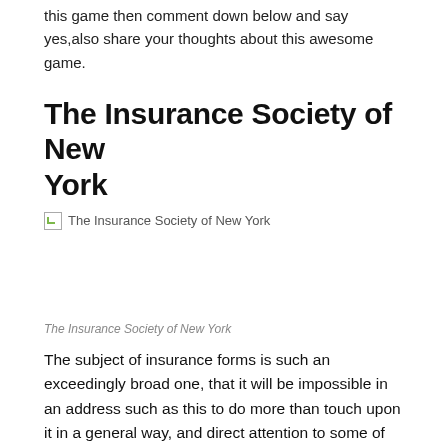this game then comment down below and say yes,also share your thoughts about this awesome game.
The Insurance Society of New York
[Figure (photo): Broken image placeholder with alt text: The Insurance Society of New York]
The Insurance Society of New York
The subject of insurance forms is such an exceedingly broad one, that it will be impossible in an address such as this to do more than touch upon it in a general way, and direct attention to some of